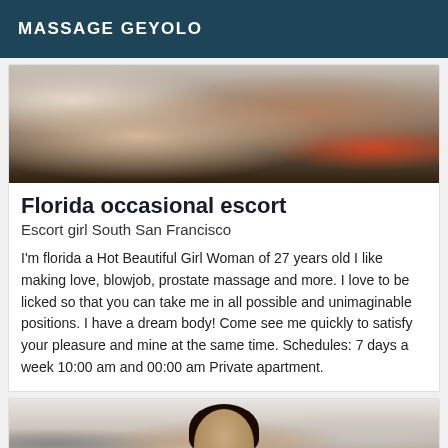MASSAGE GEYOLO
[Figure (photo): Close-up photo of a person lying down, partially visible, with a red object in the background and dark tones.]
Florida occasional escort
Escort girl South San Francisco
I'm florida a Hot Beautiful Girl Woman of 27 years old I like making love, blowjob, prostate massage and more. I love to be licked so that you can take me in all possible and unimaginable positions. I have a dream body! Come see me quickly to satisfy your pleasure and mine at the same time. Schedules: 7 days a week 10:00 am and 00:00 am Private apartment.
[Figure (photo): Photo of a dark-haired woman facing the camera, taken indoors with light-colored walls in the background.]